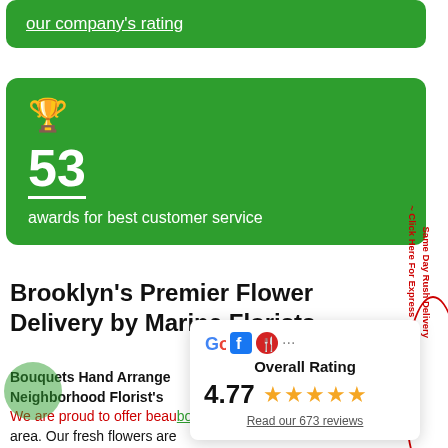our company's rating
[Figure (infographic): Green card with trophy icon, number 53, and text 'awards for best customer service']
Brooklyn's Premier Flower Delivery by Marine Florists
Bouquets Hand Arranged Neighborhood Florist's We are proud to offer beautiful bouquets and fast, reliable area. Our fresh flowers are basket, ready to be enjoyed immediately; unlike
[Figure (infographic): Rating popup showing Google, Facebook, Yelp icons, Overall Rating 4.77 with 5 stars, Read our 673 reviews]